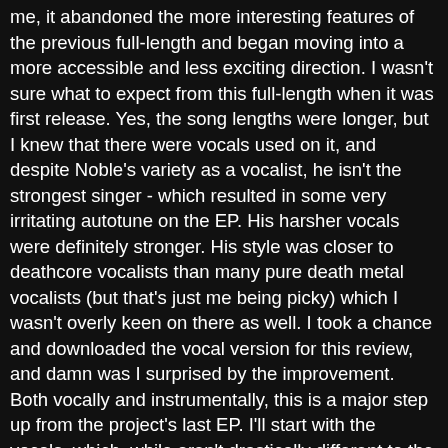me, it abandoned the more interesting features of the previous full-length and began moving into a more accessible and less exciting direction. I wasn't sure what to expect from this full-length when it was first release. Yes, the song lengths were longer, but I knew that there were vocals used on it, and despite Noble's variety as a vocalist, he isn't the strongest singer - which resulted in some very irritating autotune on the EP. His harsher vocals were definitely stronger. His style was closer to deathcore vocalists than many pure death metal vocalists (but that's just me being picky) which I wasn't overly keen on there as well. I took a chance and downloaded the vocal version for this review, and damn was I surprised by the improvement.
Both vocally and instrumentally, this is a major step up from the project's last EP. I'll start with the vocals, which, while aren't drastically different to the style found on the EP, certainly fit better. The growls are lower and is the style used for the majority of the album, which is definitely a positive in my book. When singing is used it didn't sound as autotuned as it was previously, or at least that's what it sounded like to me. What I can say for sure is that they aren't as up front and in your face (the clean vocals I mean) as they were